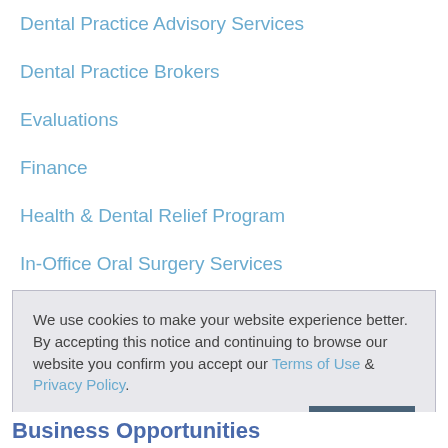Dental Practice Advisory Services
Dental Practice Brokers
Evaluations
Finance
Health & Dental Relief Program
In-Office Oral Surgery Services
We use cookies to make your website experience better. By accepting this notice and continuing to browse our website you confirm you accept our Terms of Use & Privacy Policy.
read more >>
I Accept
Business Opportunities